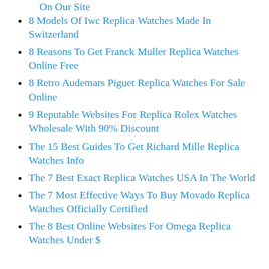On Our Site
8 Models Of Iwc Replica Watches Made In Switzerland
8 Reasons To Get Franck Muller Replica Watches Online Free
8 Retro Audemars Piguet Replica Watches For Sale Online
9 Reputable Websites For Replica Rolex Watches Wholesale With 90% Discount
The 15 Best Guides To Get Richard Mille Replica Watches Info
The 7 Best Exact Replica Watches USA In The World
The 7 Most Effective Ways To Buy Movado Replica Watches Officially Certified
The 8 Best Online Websites For Omega Replica Watches Under $...